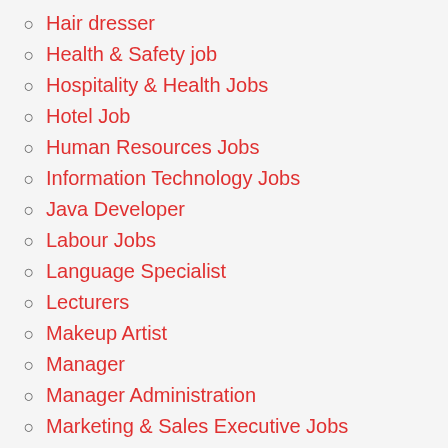Hair dresser
Health & Safety job
Hospitality & Health Jobs
Hotel Job
Human Resources Jobs
Information Technology Jobs
Java Developer
Labour Jobs
Language Specialist
Lecturers
Makeup Artist
Manager
Manager Administration
Marketing & Sales Executive Jobs
Massage Therapist Jobs